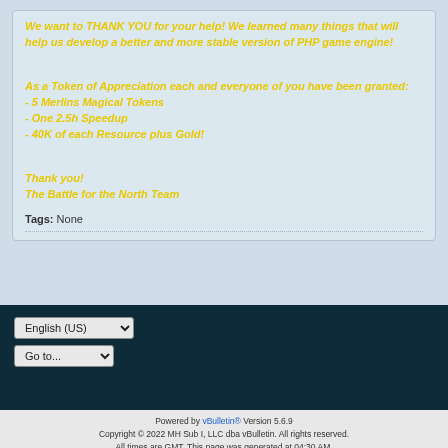We want to THANK YOU for your help! We learned many things that will help us develop a better and more stable version of PHP game engine!
As a Token of Appreciation each and everyone of you have been granted:
- 5 Merlins Magical Tokens
- One 2.5h Speedup
- 40K of each Resource plus Gold!
Thank you!
The Battle for the North Team
Tags: None
English (US)
Go to...
Powered by vBulletin® Version 5.6.9
Copyright © 2022 MH Sub I, LLC dba vBulletin. All rights reserved.
All times are GMT. This page was generated at 04:30 AM.